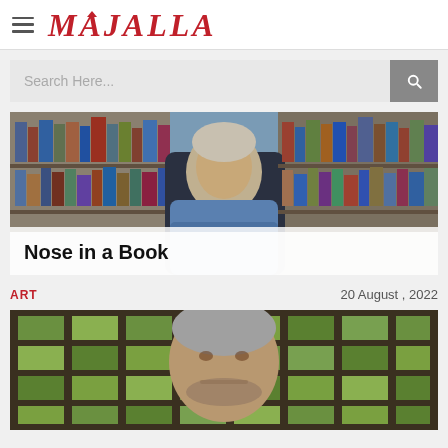MAJALLA
Search Here...
[Figure (photo): Older man in a blue jacket with curly grey hair sitting in a leather chair with arms crossed, bookshelves behind him, with overlay title 'Nose in a Book']
Nose in a Book
ART   20 August , 2022
[Figure (photo): Older man with grey hair and beard partially visible, standing in front of a window or lattice structure with greenery outside]